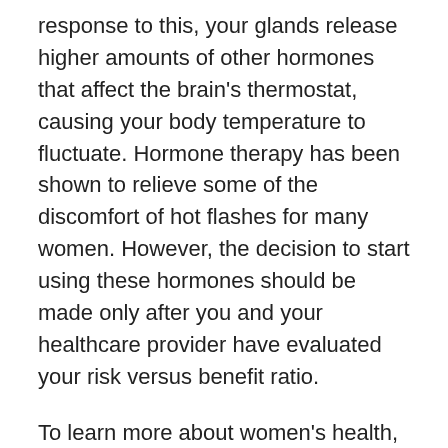response to this, your glands release higher amounts of other hormones that affect the brain's thermostat, causing your body temperature to fluctuate. Hormone therapy has been shown to relieve some of the discomfort of hot flashes for many women. However, the decision to start using these hormones should be made only after you and your healthcare provider have evaluated your risk versus benefit ratio.
To learn more about women's health, and specifically hormone therapy, the National Heart, Lung, and Blood Institute of the National Institutes of Health launched the Women's Health Initiative in 1991. The hormone trial had 2 studies: the estrogen-plus-progestin study of women with a uterus and the estrogen-alone study of women without a uterus. Both studies ended early when the research showed that hormone therapy did not help prevent heart disease and it increased risk for some medical problems. Follow-up